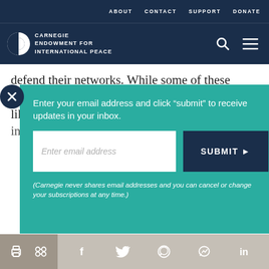ABOUT   CONTACT   SUPPORT   DONATE
CARNEGIE ENDOWMENT FOR INTERNATIONAL PEACE
defend their networks. While some of these capabilities are inherently governmental, it is likely at, if granted the authority, firms would invest even g
Enter your email address and click “submit” to receive updates in your inbox.
Enter email address
SUBMIT ►
(Carnegie never shares email addresses and you can cancel or change your subscriptions at any time.)
print  share  facebook  twitter  whatsapp  messenger  linkedin